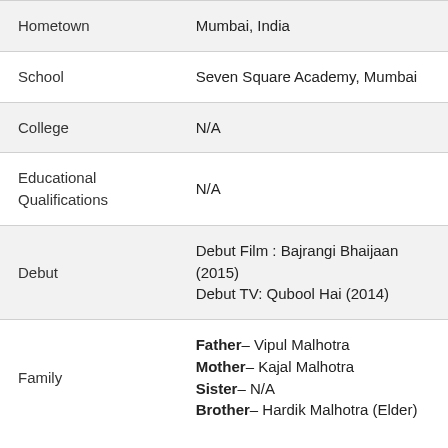| Field | Value |
| --- | --- |
| Hometown | Mumbai, India |
| School | Seven Square Academy, Mumbai |
| College | N/A |
| Educational Qualifications | N/A |
| Debut | Debut Film : Bajrangi Bhaijaan (2015)
Debut TV: Qubool Hai (2014) |
| Family | Father– Vipul Malhotra
Mother– Kajal Malhotra
Sister– N/A
Brother– Hardik Malhotra (Elder) |